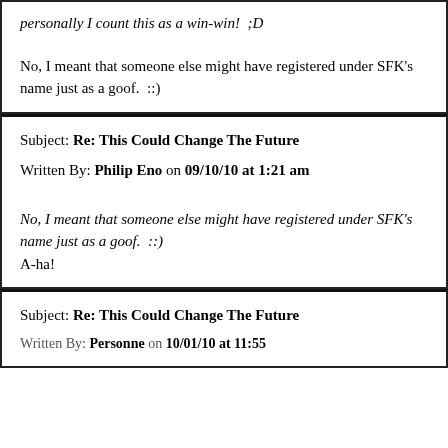personally I count this as a win-win!  ;D
No, I meant that someone else might have registered under SFK's name just as a goof.  ::)
Subject: Re: This Could Change The Future
Written By: Philip Eno on 09/10/10 at 1:21 am
No, I meant that someone else might have registered under SFK's name just as a goof.  ::)
A-ha!
Subject: Re: This Could Change The Future